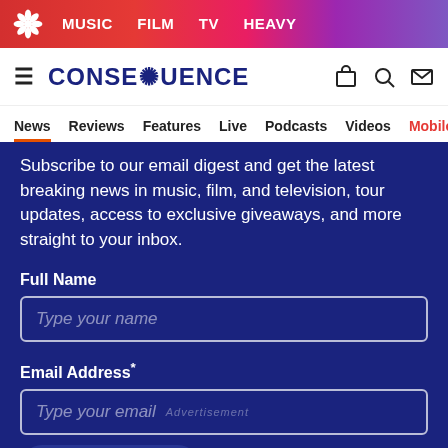MUSIC  FILM  TV  HEAVY
CONSEQUENCE
News  Reviews  Features  Live  Podcasts  Videos  Mobile A
Subscribe to our email digest and get the latest breaking news in music, film, and television, tour updates, access to exclusive giveaways, and more straight to your inbox.
Full Name
Type your name
Email Address*
Type your email
Subscribe